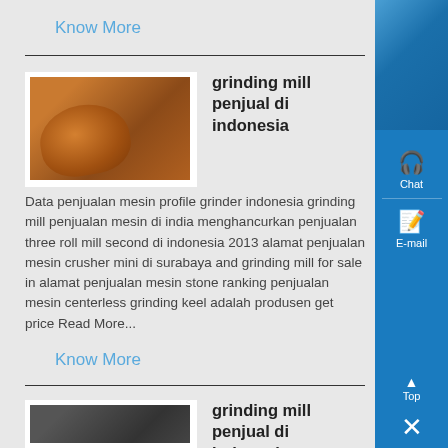Know More
grinding mill penjual di indonesia
Data penjualan mesin profile grinder indonesia grinding mill penjualan mesin di india menghancurkan penjualan three roll mill second di indonesia 2013 alamat penjualan mesin crusher mini di surabaya and grinding mill for sale in alamat penjualan mesin stone ranking penjualan mesin centerless grinding keel adalah produsen get price Read More...
Know More
grinding mill penjual di indonesia
[Figure (screenshot): Sidebar with Chat, E-mail, Top, and close buttons on blue background]